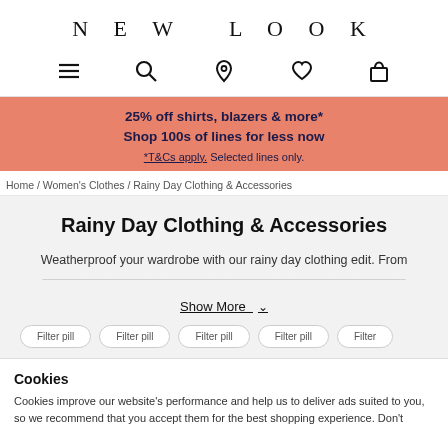NEW LOOK
[Figure (screenshot): Navigation icons: hamburger menu, search, location pin, heart/wishlist, shopping bag]
25% off shirts, blazers & more* Shop 100s of lines for less now *T&Cs apply. Selected lines only.
Home / Women's Clothes / Rainy Day Clothing & Accessories
Rainy Day Clothing & Accessories
Weatherproof your wardrobe with our rainy day clothing edit. From
Show More
Cookies
Cookies improve our website's performance and help us to deliver ads suited to you, so we recommend that you accept them for the best shopping experience. Don't